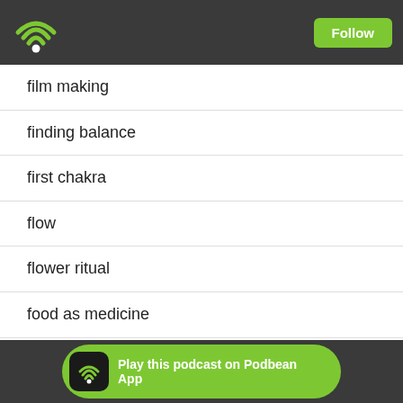[Figure (screenshot): Podbean app header with wifi/podcast logo and Follow button]
film making
finding balance
first chakra
flow
flower ritual
food as medicine
Food Inc
Friday Highlight
friends
friendship
friendships
fun
Global
[Figure (screenshot): Podbean App play banner at bottom]